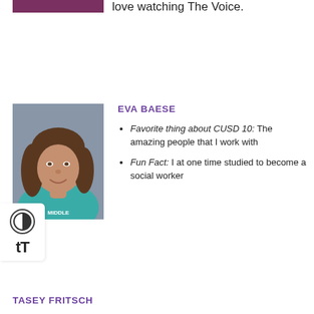love watching The Voice.
[Figure (photo): Partial photo of a person at top of page (cropped)]
EVA BAESE
[Figure (photo): Headshot photo of Eva Baese, a woman with brown hair wearing a teal shirt, blue-grey background]
Favorite thing about CUSD 10: The amazing people that I work with
Fun Fact: I at one time studied to become a social worker
TASEY FRITSCH